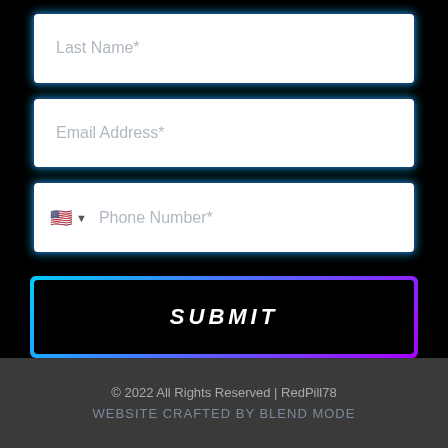[Figure (screenshot): Web form with input fields for Last Name, Email Address, and Phone Number (with US flag dropdown), followed by a SUBMIT button with neon cyan/purple glow border on black background.]
© 2022 All Rights Reserved | RedPill78
WEBSITE CRAFTED BY BLEND MODE